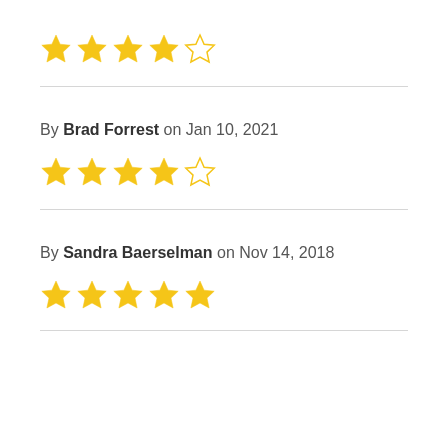[Figure (other): 4 out of 5 stars rating (4 filled stars, 1 empty star)]
By Brad Forrest on Jan 10, 2021
[Figure (other): 4 out of 5 stars rating (4 filled stars, 1 empty star)]
By Sandra Baerselman on Nov 14, 2018
[Figure (other): 5 out of 5 stars rating (5 filled stars)]